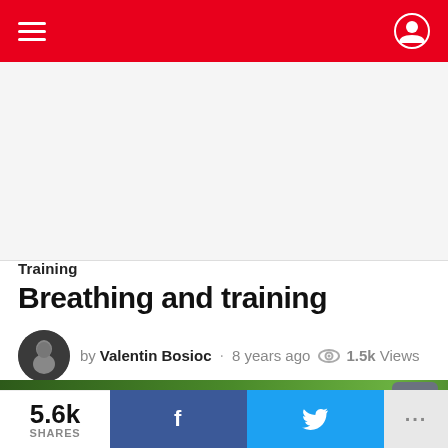Navigation bar with hamburger menu and user/theme icons
[Figure (other): Advertisement or blank placeholder area below navigation bar]
Training
Breathing and training
by Valentin Bosioc · 8 years ago  1.5k Views
[Figure (photo): Partial photo of a person outdoors with green bokeh background, beginning of article hero image]
5.6k SHARES